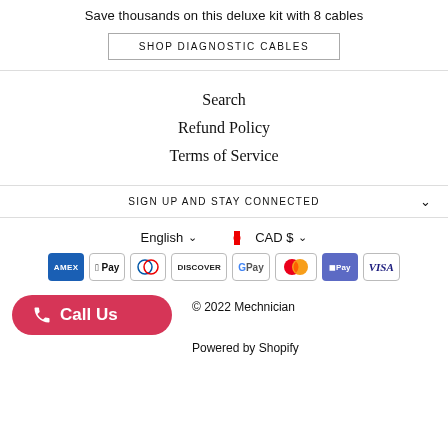Save thousands on this deluxe kit with 8 cables
SHOP DIAGNOSTIC CABLES
Search
Refund Policy
Terms of Service
SIGN UP AND STAY CONNECTED
English  CAD $
[Figure (other): Payment method icons: American Express, Apple Pay, Diners Club, Discover, Google Pay, Mastercard, Shopify Pay, Visa]
Call Us
© 2022 Mechnician
Powered by Shopify